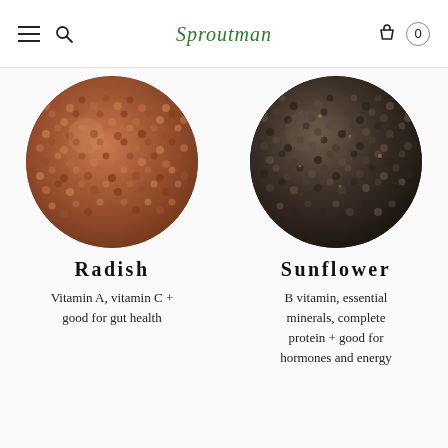Sproutman (logo) — navigation header with hamburger menu, search, cart (0)
[Figure (photo): Circular close-up photo of radish seeds — small round reddish-brown seeds]
Radish
Vitamin A, vitamin C + good for gut health
[Figure (photo): Circular close-up photo of sunflower seeds — small dark brown/black seeds]
Sunflower
B vitamin, essential minerals, complete protein + good for hormones and energy
[Figure (photo): Partial circular photo at bottom left — partially visible dark seeds]
[Figure (photo): Partial circular photo at bottom right — partially visible golden/tan seeds]